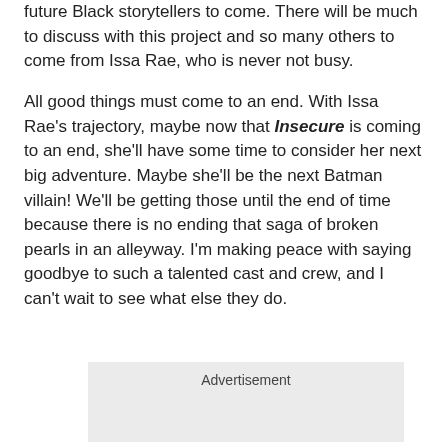future Black storytellers to come. There will be much to discuss with this project and so many others to come from Issa Rae, who is never not busy.
All good things must come to an end. With Issa Rae’s trajectory, maybe now that Insecure is coming to an end, she’ll have some time to consider her next big adventure. Maybe she'll be the next Batman villain! We’ll be getting those until the end of time because there is no ending that saga of broken pearls in an alleyway. I’m making peace with saying goodbye to such a talented cast and crew, and I can’t wait to see what else they do.
Advertisement